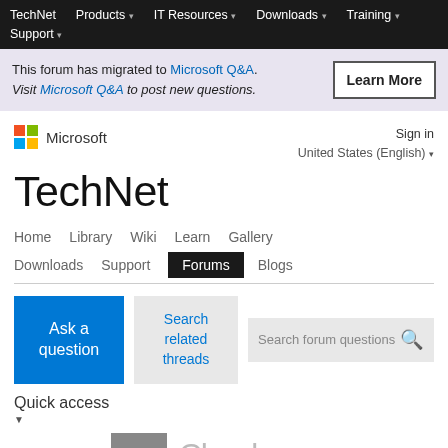TechNet  Products  IT Resources  Downloads  Training  Support
This forum has migrated to Microsoft Q&A. Visit Microsoft Q&A to post new questions.
TechNet
Home  Library  Wiki  Learn  Gallery  Downloads  Support  Forums  Blogs
Ask a question
Search related threads
Search forum questions
Quick access
Answered